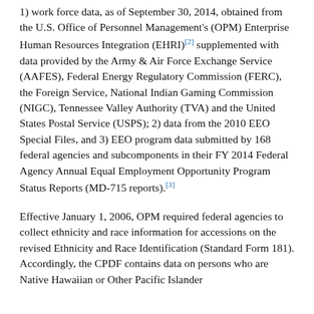1) work force data, as of September 30, 2014, obtained from the U.S. Office of Personnel Management's (OPM) Enterprise Human Resources Integration (EHRI)[2] supplemented with data provided by the Army & Air Force Exchange Service (AAFES), Federal Energy Regulatory Commission (FERC), the Foreign Service, National Indian Gaming Commission (NIGC), Tennessee Valley Authority (TVA) and the United States Postal Service (USPS); 2) data from the 2010 EEO Special Files, and 3) EEO program data submitted by 168 federal agencies and subcomponents in their FY 2014 Federal Agency Annual Equal Employment Opportunity Program Status Reports (MD-715 reports).[3]
Effective January 1, 2006, OPM required federal agencies to collect ethnicity and race information for accessions on the revised Ethnicity and Race Identification (Standard Form 181). Accordingly, the CPDF contains data on persons who are Native Hawaiian or Other Pacific Islander